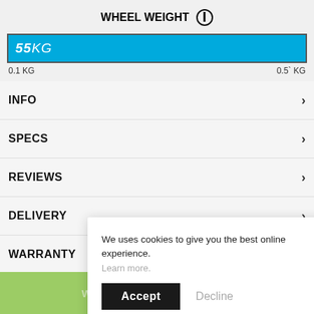WHEEL WEIGHT
55KG  —  range: 0.1 KG to 0.5 KG
INFO
SPECS
REVIEWS
DELIVERY
WARRANTY
SIZE INFO
Wheels are sold individually
We uses cookies to give you the best online experience. Learn more.
Accept
Decline